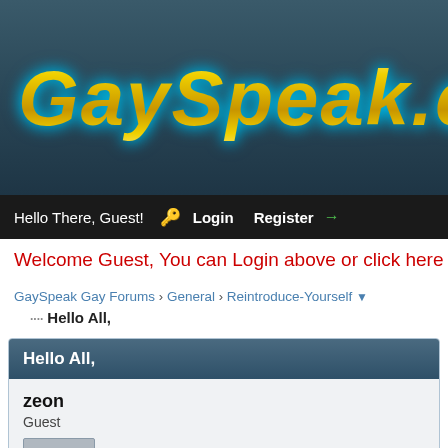[Figure (logo): GaySpeak.com logo with gold metallic italic text on dark teal background]
Hello There, Guest! 🔑 Login  Register →
Welcome Guest, You can Login above or click here to re
GaySpeak Gay Forums › General › Reintroduce-Yourself ▼
Hello All,
Hello All,
zeon
Guest
04-13-2020, 12:22 PM